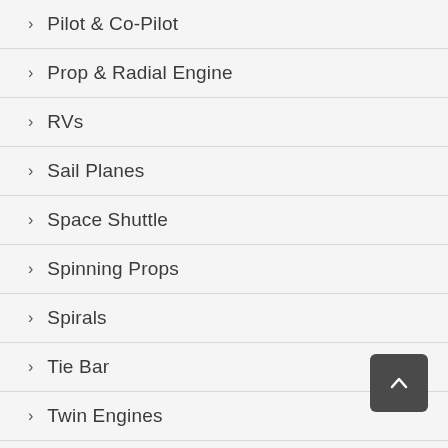Pilot & Co-Pilot
Prop & Radial Engine
RVs
Sail Planes
Space Shuttle
Spinning Props
Spirals
Tie Bar
Twin Engines